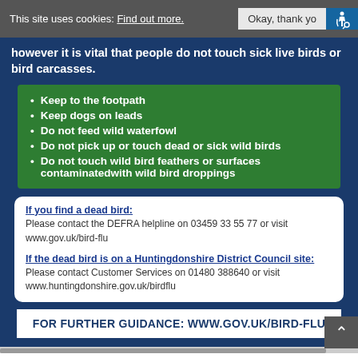This site uses cookies: Find out more.   Okay, thank yo
however it is vital that people do not touch sick live birds or bird carcasses.
Keep to the footpath
Keep dogs on leads
Do not feed wild waterfowl
Do not pick up or touch dead or sick wild birds
Do not touch wild bird feathers or surfaces contaminatedwith wild bird droppings
If you find a dead bird:
Please contact the DEFRA helpline on 03459 33 55 77 or visit www.gov.uk/bird-flu
If the dead bird is on a Huntingdonshire District Council site:
Please contact Customer Services on 01480 388640 or visit www.huntingdonshire.gov.uk/birdflu
FOR FURTHER GUIDANCE: WWW.GOV.UK/BIRD-FLU
BIRD FLU GUIDANCE